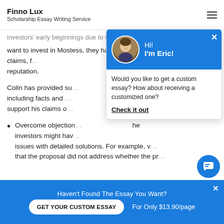Finno Lux
Scholarship Essay Writing Service
investors' early beginnings due to the immigrant and
want to invest in Mostess, they have to believe in the company's claims, f[...] reputation.
Colin has provided su[...] including facts and [...] support his claims o[...]
Overcome objection[...] me investors might hav[...] issues with detailed solutions. For example, v[...] that the proposal did not address whether the pr[...]
[Figure (infographic): Chat popup with photo of Eric, greeting 'Hi! I'm Eric!', message 'Would you like to get a custom essay? How about receiving a customized one?', and bold underlined link 'Check it out'. Blue header with white X close button.]
Haven't Found The Essay You Want?
GET YOUR CUSTOM ESSAY    For Only $13.90/page